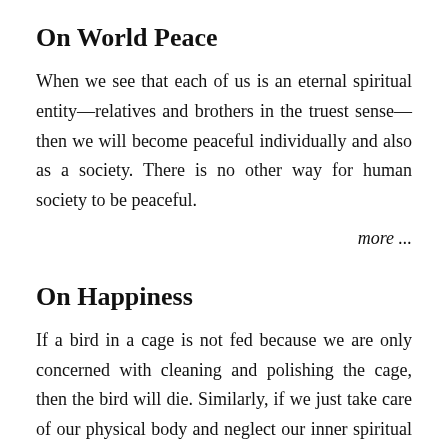On World Peace
When we see that each of us is an eternal spiritual entity—relatives and brothers in the truest sense—then we will become peaceful individually and also as a society. There is no other way for human society to be peaceful.
more ...
On Happiness
If a bird in a cage is not fed because we are only concerned with cleaning and polishing the cage, then the bird will die. Similarly, if we just take care of our physical body and neglect our inner spiritual needs, then